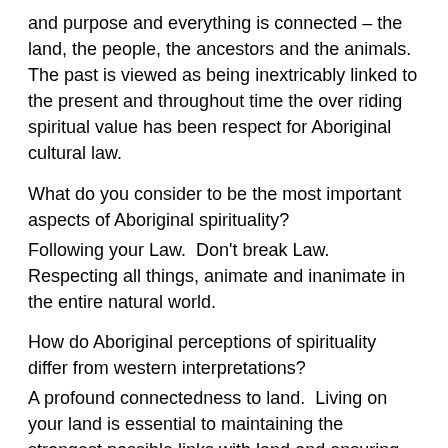and purpose and everything is connected – the land, the people, the ancestors and the animals. The past is viewed as being inextricably linked to the present and throughout time the over riding spiritual value has been respect for Aboriginal cultural law.
What do you consider to be the most important aspects of Aboriginal spirituality?
Following your Law.  Don't break Law.  Respecting all things, animate and inanimate in the entire natural world.
How do Aboriginal perceptions of spirituality differ from western interpretations?
A profound connectedness to land.  Living on your land is essential to maintaining the strongest possible links with land and ensuring proper practice of Aboriginal spiritual life.